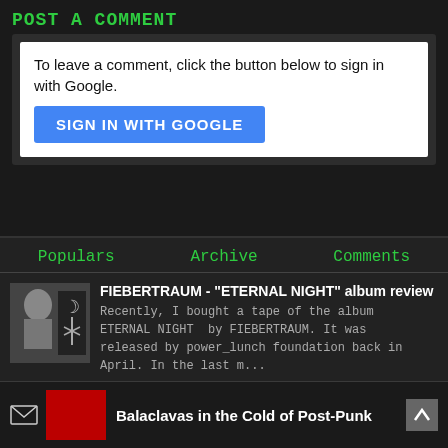POST A COMMENT
To leave a comment, click the button below to sign in with Google.
SIGN IN WITH GOOGLE
Populars
Archive
Comments
FIEBERTRAUM - "ETERNAL NIGHT" album review
Recently, I bought a tape of the album ETERNAL NIGHT  by FIEBERTRAUM. It was released by power_lunch foundation back in April. In the last m...
Balaclavas in the Cold of Post-Punk